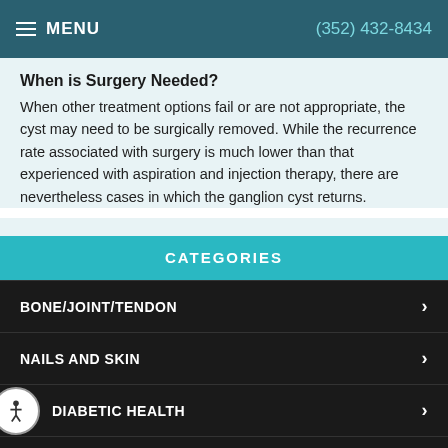MENU | (352) 432-8434
When is Surgery Needed?
When other treatment options fail or are not appropriate, the cyst may need to be surgically removed. While the recurrence rate associated with surgery is much lower than that experienced with aspiration and injection therapy, there are nevertheless cases in which the ganglion cyst returns.
CATEGORIES
BONE/JOINT/TENDON
NAILS AND SKIN
DIABETIC HEALTH
FITNESS AND YOUR FEET